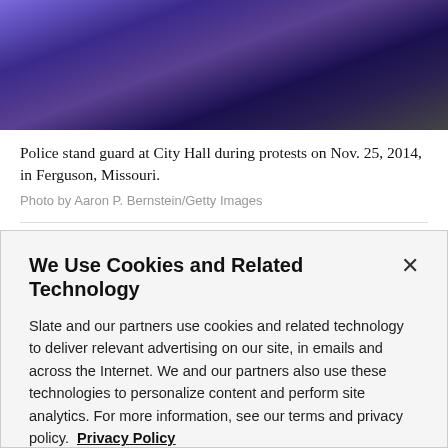[Figure (photo): Photo of police standing guard at City Hall during protests, dark nighttime scene with blue/purple lighting]
Police stand guard at City Hall during protests on Nov. 25, 2014, in Ferguson, Missouri.
Photo by Aaron P. Bernstein/Getty Images
ADVERTISEMENT
We Use Cookies and Related Technology
Slate and our partners use cookies and related technology to deliver relevant advertising on our site, in emails and across the Internet. We and our partners also use these technologies to personalize content and perform site analytics. For more information, see our terms and privacy policy.  Privacy Policy
OK